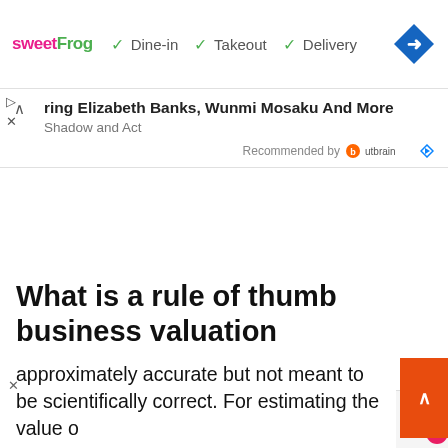[Figure (screenshot): Sweet Frog ad banner with Dine-in, Takeout, Delivery options and a blue diamond navigation icon]
▷
✕
ring Elizabeth Banks, Wunmi Mosaku And More
Shadow and Act
Recommended by Outbrain
What is a rule of thumb business valuation approach?
✕
[Figure (photo): Colorful psychedelic image used in ringtone download ad]
[Pics] Best Ringtone Download Site
Sponsored: Hiappo
TONE
approximately accurate but not meant to be scientifically correct. For estimating the value o